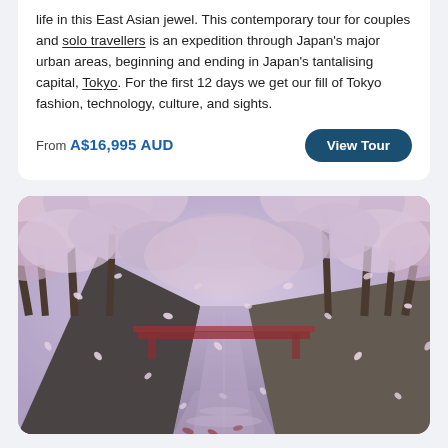life in this East Asian jewel. This contemporary tour for couples and solo travellers is an expedition through Japan's major urban areas, beginning and ending in Japan's tantalising capital, Tokyo. For the first 12 days we get our fill of Tokyo fashion, technology, culture, and sights.
From A$16,995 AUD
View Tour
[Figure (photo): Cherry blossom trees arching over a canal or river walkway in Japan, with pink and white blossoms falling, and concrete walls lining the waterway. The scene has a moody, rainy atmosphere.]